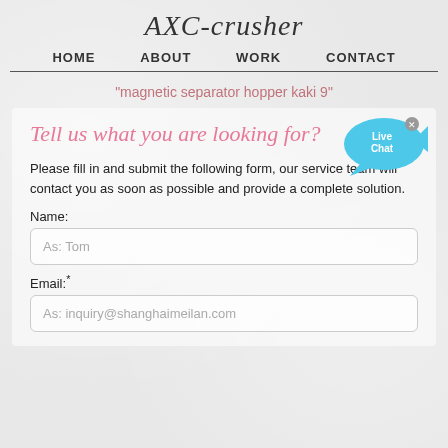AXC-crusher
HOME   ABOUT   WORK   CONTACT
"magnetic separator hopper kaki 9"
Tell us what you are looking for?
[Figure (illustration): Live Chat speech bubble icon in blue with a small fish/arrow shape, with an X close button]
Please fill in and submit the following form, our service team will contact you as soon as possible and provide a complete solution.
Name:
As: Tom
Email:*
As: inquiry@shanghaimeilan.com